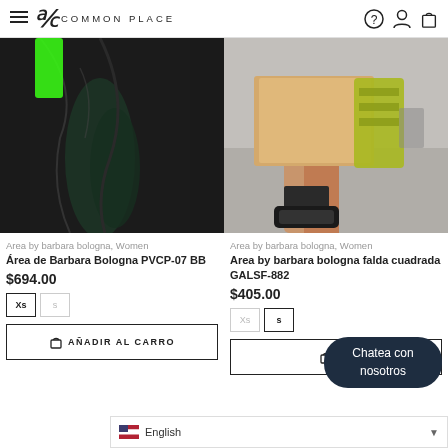≡ Ã COMMON PLACE ? ♟ 🛍
[Figure (photo): Fashion product photo: model wearing black PVC long dress with green accent, Area by barbara bologna]
Area by barbara bologna, Women
Área de Barbara Bologna PVCP-07 BB
$694.00
Xs  s
AÑADIR AL CARRO
[Figure (photo): Fashion product photo: model wearing beige/tan skirt with yellow-green striped bag, Area by barbara bologna]
Area by barbara bologna, Women
Area by barbara bologna falda cuadrada GALSF-882
$405.00
Xs  s
AÑADIR AL CARRO
Chatea con nosotros
English